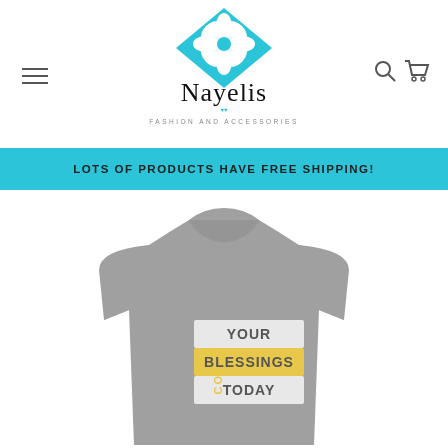[Figure (logo): Nayelis Fashion and Accessories logo: cyan diamond shape with white floral illustration above cursive 'Nayelis' text, with 'FASHION AND ACCESSORIES' below in small caps]
[Figure (illustration): Hamburger menu icon (three horizontal lines) on the left side of the header]
[Figure (illustration): Search (magnifying glass) and cart icons on the right side of the header]
LOTS OF PRODUCTS HAVE FREE SHIPPING!
[Figure (photo): Gray t-shirt with 'COUNT YOUR BLESSINGS TODAY' graphic: vertical 'COUNT' text in yellow on left side, 'YOUR' in gray on white strip, 'BLESSINGS' in gray on yellow strip, 'TODAY' in gray on white strip]